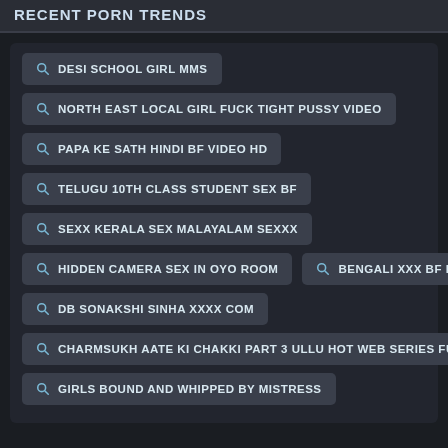RECENT PORN TRENDS
DESI SCHOOL GIRL MMS
NORTH EAST LOCAL GIRL FUCK TIGHT PUSSY VIDEO
PAPA KE SATH HINDI BF VIDEO HD
TELUGU 10TH CLASS STUDENT SEX BF
SEXX KERALA SEX MALAYALAM SEXXX
HIDDEN CAMERA SEX IN OYO ROOM
BENGALI XXX BF KOLKATA
DB SONAKSHI SINHA XXXX COM
CHARMSUKH AATE KI CHAKKI PART 3 ULLU HOT WEB SERIES FULL VIDEO
GIRLS BOUND AND WHIPPED BY MISTRESS